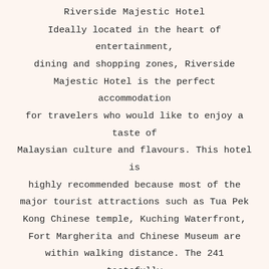Riverside Majestic Hotel
Ideally located in the heart of entertainment, dining and shopping zones, Riverside Majestic Hotel is the perfect accommodation for travelers who would like to enjoy a taste of Malaysian culture and flavours. This hotel is highly recommended because most of the major tourist attractions such as Tua Pek Kong Chinese temple, Kuching Waterfront, Fort Margherita and Chinese Museum are within walking distance. The 241 tastefully furnished contemporary guestrooms await you.
Merdeka Palace Hotel & Suites